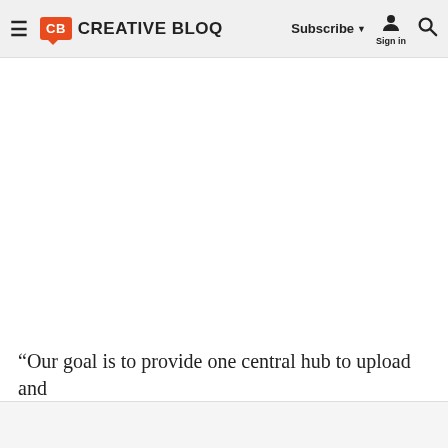Creative Bloq — Subscribe | Sign in | Search
[Figure (screenshot): White blank image area, likely a photo or video placeholder for an article on Creative Bloq website]
“Our goal is to provide one central hub to upload and